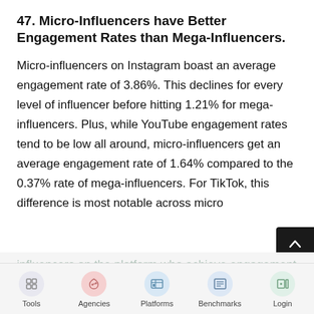47. Micro-Influencers have Better Engagement Rates than Mega-Influencers.
Micro-influencers on Instagram boast an average engagement rate of 3.86%. This declines for every level of influencer before hitting 1.21% for mega-influencers. Plus, while YouTube engagement rates tend to be low all around, micro-influencers get an average engagement rate of 1.64% compared to the 0.37% rate of mega-influencers. For TikTok, this difference is most notable across micro influencers on the platform who achieve engagement rates of nearly 18%, while mega-influencers get just under 5%.
Tools | Agencies | Platforms | Benchmarks | Login